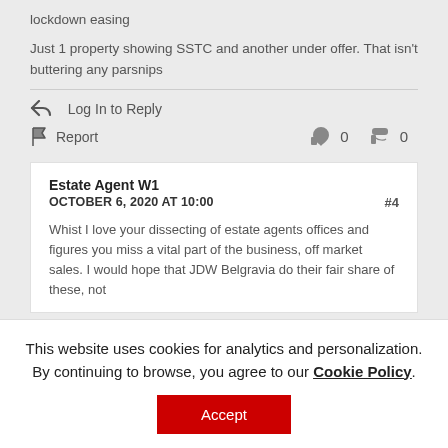lockdown easing
Just 1 property showing SSTC and another under offer. That isn't buttering any parsnips
Log In to Reply
Report  0  0
Estate Agent W1
OCTOBER 6, 2020 AT 10:00  #4
Whist I love your dissecting of estate agents offices and figures you miss a vital part of the business, off market sales. I would hope that JDW Belgravia do their fair share of these, not
This website uses cookies for analytics and personalization. By continuing to browse, you agree to our Cookie Policy. Accept